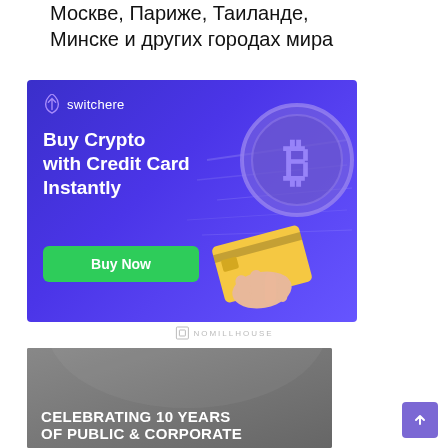Москве, Париже, Таиланде, Минске и других городах мира
[Figure (illustration): Switchere advertisement banner with purple gradient background showing 'Buy Crypto with Credit Card Instantly' text, a green Buy Now button, and a stylized Bitcoin coin with a hand holding a credit card on the right side.]
[Figure (logo): Nomillhouse watermark logo with small square icon and text 'NOMILLHOUSE' in light gray]
[Figure (illustration): Gray banner bottom portion showing text 'CELEBRATING 10 YEARS OF PUBLIC & CORPORATE' in white bold uppercase letters on gray background]
[Figure (other): Purple scroll-to-top arrow button in bottom right corner]